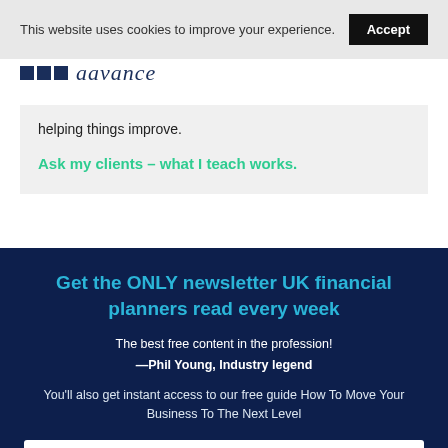This website uses cookies to improve your experience. Accept
[Figure (logo): Advance logo with three dark blue squares and italic 'aavance' text]
helping things improve.
Ask my clients – what I teach works.
Get the ONLY newsletter UK financial planners read every week
The best free content in the profession!
—Phil Young, Industry legend
You'll also get instant access to our free guide How To Move Your Business To The Next Level
First Name